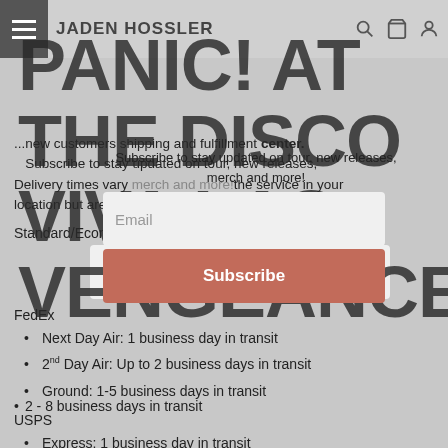JADEN HOSSLER | PANIC! AT THE DISCO VIVA LAS VENGEANCE
...new customers shipping and fulfillment center.
Subscribe to stay updated on tour, new releases, merch and more!
Delivery times vary depending on the service in your location but are typically anytime before end of day.
Standard/Economy Shipping Carrier
2 - 8 business days in transit
FedEx
Next Day Air: 1 business day in transit
2nd Day Air: Up to 2 business days in transit
Ground: 1-5 business days in transit
USPS
Express: 1 business day in transit
Priority: 2-4 business days in transit
First Class Mail - 1-5 business days in transit
*Orders going to PO Boxes, Military, and APOs must